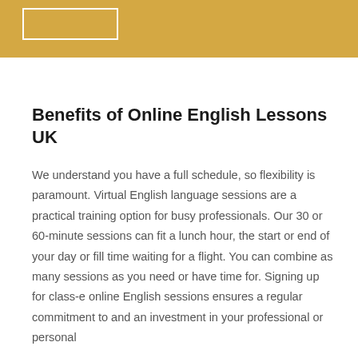Benefits of Online English Lessons UK
We understand you have a full schedule, so flexibility is paramount. Virtual English language sessions are a practical training option for busy professionals. Our 30 or 60-minute sessions can fit a lunch hour, the start or end of your day or fill time waiting for a flight. You can combine as many sessions as you need or have time for. Signing up for class-e online English sessions ensures a regular commitment to and an investment in your professional or personal